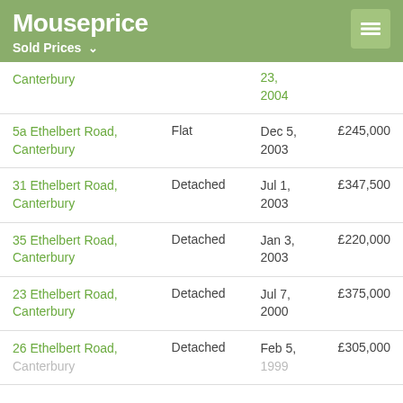Mouseprice — Sold Prices
| Address | Type | Date | Price |
| --- | --- | --- | --- |
| Canterbury |  | 23, 2004 |  |
| 5a Ethelbert Road, Canterbury | Flat | Dec 5, 2003 | £245,000 |
| 31 Ethelbert Road, Canterbury | Detached | Jul 1, 2003 | £347,500 |
| 35 Ethelbert Road, Canterbury | Detached | Jan 3, 2003 | £220,000 |
| 23 Ethelbert Road, Canterbury | Detached | Jul 7, 2000 | £375,000 |
| 26 Ethelbert Road, Canterbury | Detached | Feb 5, 1999 | £305,000 |